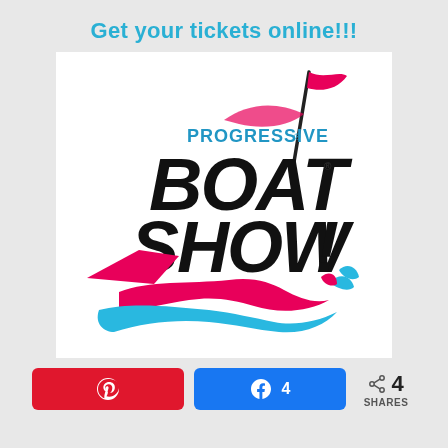Get your tickets online!!!
[Figure (logo): Progressive Boat Show logo with pink flag, bold black 'BOAT SHOW' text, blue and pink wave design with boat]
4 SHARES